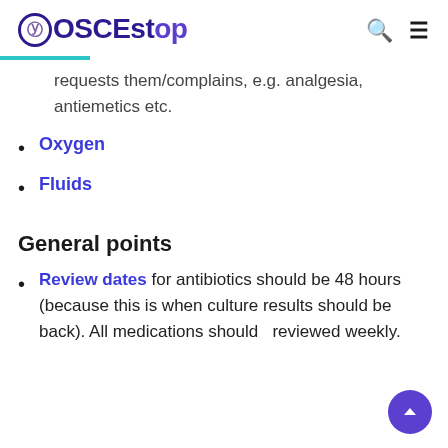OSCEstop
requests them/complains, e.g. analgesia, antiemetics etc.
Oxygen
Fluids
General points
Review dates for antibiotics should be 48 hours (because this is when culture results should be back). All medications should be reviewed weekly.